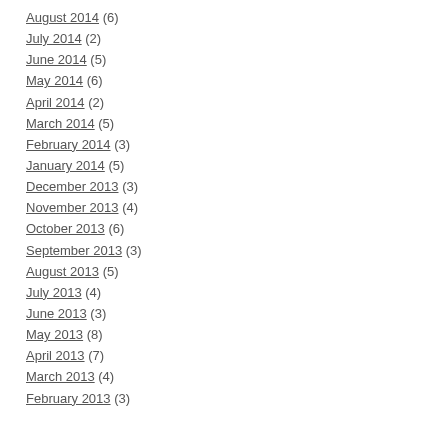August 2014 (6)
July 2014 (2)
June 2014 (5)
May 2014 (6)
April 2014 (2)
March 2014 (5)
February 2014 (3)
January 2014 (5)
December 2013 (3)
November 2013 (4)
October 2013 (6)
September 2013 (3)
August 2013 (5)
July 2013 (4)
June 2013 (3)
May 2013 (8)
April 2013 (7)
March 2013 (4)
February 2013 (3)